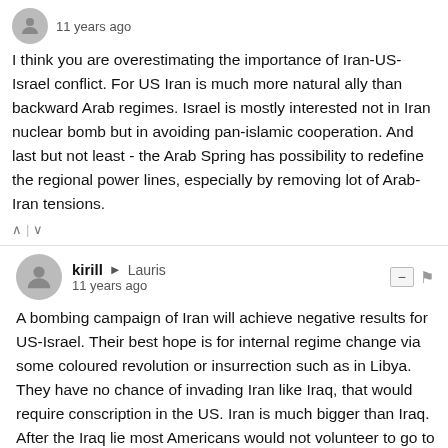11 years ago
I think you are overestimating the importance of Iran-US-Israel conflict. For US Iran is much more natural ally than backward Arab regimes. Israel is mostly interested not in Iran nuclear bomb but in avoiding pan-islamic cooperation. And last but not least - the Arab Spring has possibility to redefine the regional power lines, especially by removing lot of Arab-Iran tensions.
kirill → Lauris
11 years ago
A bombing campaign of Iran will achieve negative results for US-Israel. Their best hope is for internal regime change via some coloured revolution or insurrection such as in Libya. They have no chance of invading Iran like Iraq, that would require conscription in the US. Iran is much bigger than Iraq. After the Iraq lie most Americans would not volunteer to go to die in Iran for some fuzzy reason.
Saudi Arabia is the country that deserves regime change by all objective measures. Iran is a democracy compared to Saudi Arabia, which is a medieval fiefdom that spreads terrorism